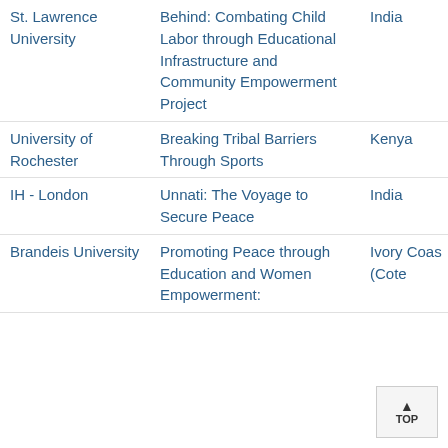| Institution | Project | Country | Year |
| --- | --- | --- | --- |
| St. Lawrence University | Behind: Combating Child Labor through Educational Infrastructure and Community Empowerment Project | India | 2020 |
| University of Rochester | Breaking Tribal Barriers Through Sports | Kenya | 2020 |
| IH - London | Unnati: The Voyage to Secure Peace | India | 2020 |
| Brandeis University | Promoting Peace through Education and Women Empowerment: | Ivory Coast (Cote | 2020 |